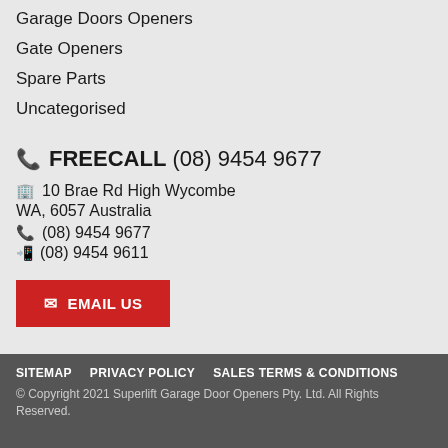Garage Doors Openers
Gate Openers
Spare Parts
Uncategorised
FREECALL (08) 9454 9677
10 Brae Rd High Wycombe
WA, 6057 Australia
(08) 9454 9677
(08) 9454 9611
EMAIL US
SITEMAP   PRIVACY POLICY   SALES TERMS & CONDITIONS
© Copyright 2021 Superlift Garage Door Openers Pty. Ltd. All Rights Reserved.